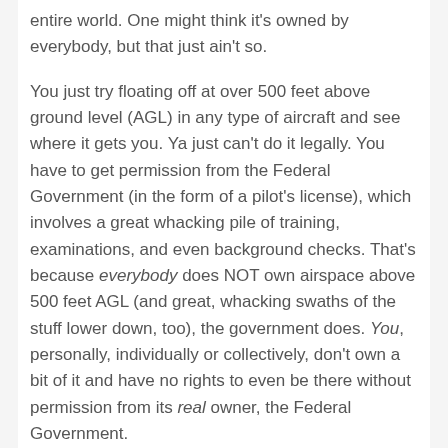entire world. One might think it's owned by everybody, but that just ain't so.
You just try floating off at over 500 feet above ground level (AGL) in any type of aircraft and see where it gets you. Ya just can't do it legally. You have to get permission from the Federal Government (in the form of a pilot's license), which involves a great whacking pile of training, examinations, and even background checks. That's because everybody does NOT own airspace above 500 feet AGL (and great, whacking swaths of the stuff lower down, too), the government does. You, personally, individually or collectively, don't own a bit of it and have no rights to even be there without permission from its real owner, the Federal Government.